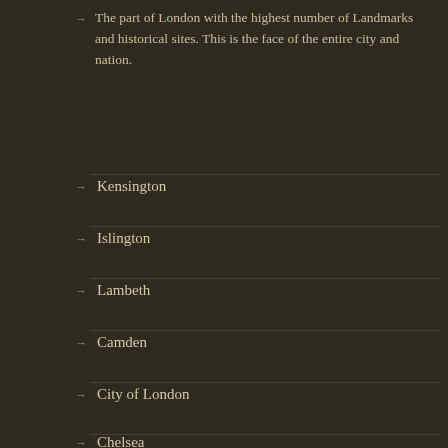The part of London with the highest number of Landmarks and historical sites. This is the face of the entire city and nation.
Kensington
Islington
Lambeth
Camden
City of London
Chelsea
Southwark
Westminster